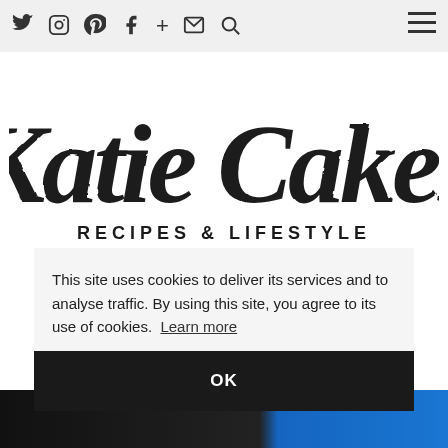Twitter Instagram Pinterest Facebook + Email Search [hamburger menu]
[Figure (logo): Katie Cakes logo in black script lettering with tagline RECIPES & LIFESTYLE underneath in sans-serif capitals]
MIDWEEK WEEKEND: ON PASTURE HALL HOTEL
This site uses cookies to deliver its services and to analyse traffic. By using this site, you agree to its use of cookies. Learn more
OK
[Figure (photo): Partial view of article image at bottom of page showing dark and blue portions]